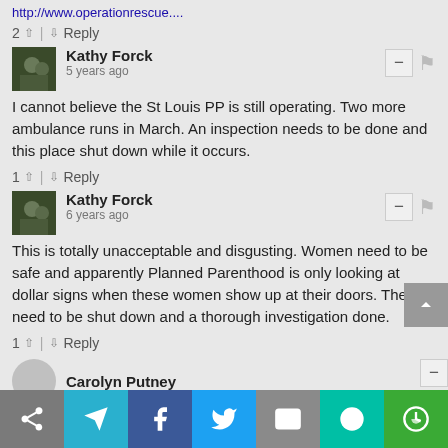http://www.operationrescue....
2 ▲ | ▼ Reply
Kathy Forck
5 years ago
I cannot believe the St Louis PP is still operating. Two more ambulance runs in March. An inspection needs to be done and this place shut down while it occurs.
1 ▲ | ▼ Reply
Kathy Forck
6 years ago
This is totally unacceptable and disgusting. Women need to be safe and apparently Planned Parenthood is only looking at dollar signs when these women show up at their doors. They need to be shut down and a thorough investigation done.
1 ▲ | ▼ Reply
Carolyn Putney